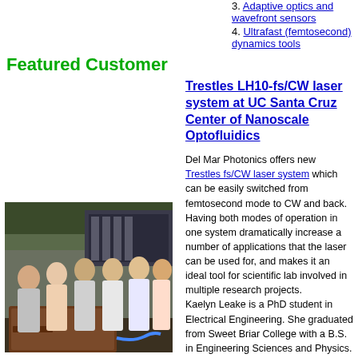3. Adaptive optics and wavefront sensors
4. Ultrafast (femtosecond) dynamics tools
Featured Customer
Trestles LH10-fs/CW laser system at UC Santa Cruz Center of Nanoscale Optofluidics
[Figure (photo): Group photo of researchers in a lab setting with laser equipment]
Del Mar Photonics offers new Trestles fs/CW laser system which can be easily switched from femtosecond mode to CW and back. Having both modes of operation in one system dramatically increase a number of applications that the laser can be used for, and makes it an ideal tool for scientific lab involved in multiple research projects. Kaelyn Leake is a PhD student in Electrical Engineering. She graduated from Sweet Briar College with a B.S. in Engineering Sciences and Physics. Her research interests include development of nanoscale optofluidic devices and their applications. Kaelyn is the recipient of a first-year QB3 Fellowship. In this video Kaelyn talks about her experimental research in nanoscale